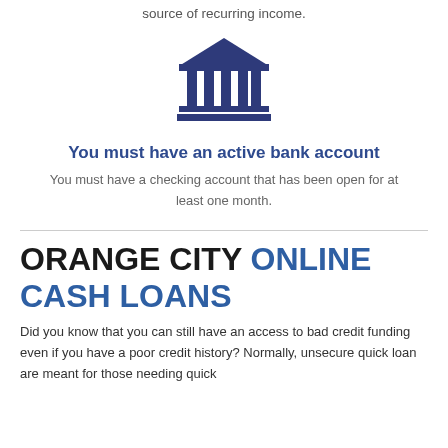source of recurring income.
[Figure (illustration): A dark navy blue bank/institution building icon with columns and a triangular roof]
You must have an active bank account
You must have a checking account that has been open for at least one month.
ORANGE CITY ONLINE CASH LOANS
Did you know that you can still have an access to bad credit funding even if you have a poor credit history? Normally, unsecure quick loan are meant for those needing quick